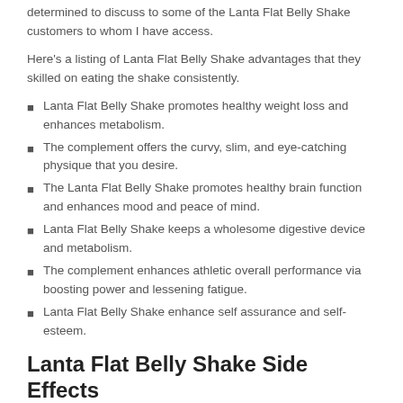determined to discuss to some of the Lanta Flat Belly Shake customers to whom I have access.
Here's a listing of Lanta Flat Belly Shake advantages that they skilled on eating the shake consistently.
Lanta Flat Belly Shake promotes healthy weight loss and enhances metabolism.
The complement offers the curvy, slim, and eye-catching physique that you desire.
The Lanta Flat Belly Shake promotes healthy brain function and enhances mood and peace of mind.
Lanta Flat Belly Shake keeps a wholesome digestive device and metabolism.
The complement enhances athletic overall performance via boosting power and lessening fatigue.
Lanta Flat Belly Shake enhance self assurance and self-esteem.
Lanta Flat Belly Shake Side Effects